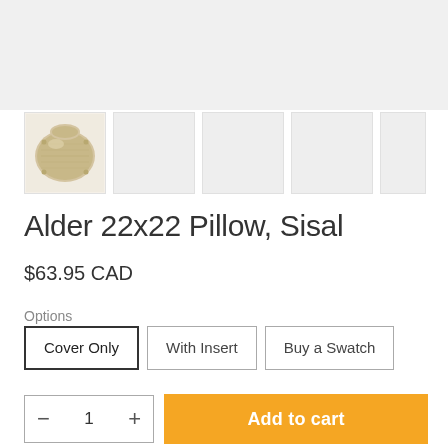[Figure (photo): Main product image area - light gray placeholder]
[Figure (photo): Thumbnail gallery row: first thumbnail shows a beige/sisal textured pillow, remaining 4 are gray placeholders]
Alder 22x22 Pillow, Sisal
$63.95 CAD
Options
Cover Only  With Insert  Buy a Swatch
1  Add to cart